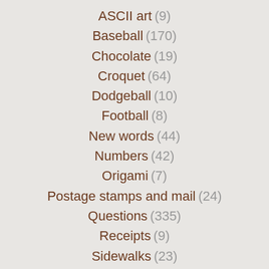ASCII art (9)
Baseball (170)
Chocolate (19)
Croquet (64)
Dodgeball (10)
Football (8)
New words (44)
Numbers (42)
Origami (7)
Postage stamps and mail (24)
Questions (335)
Receipts (9)
Sidewalks (23)
Star Wars (50)